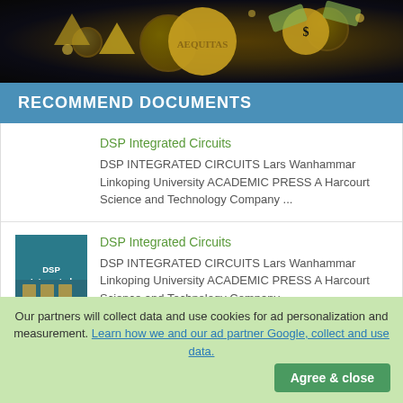[Figure (photo): Dark background with gold coins and dollar bills flying, decorative financial imagery]
RECOMMEND DOCUMENTS
DSP Integrated Circuits
DSP INTEGRATED CIRCUITS Lars Wanhammar Linkoping University ACADEMIC PRESS A Harcourt Science and Technology Company ...
[Figure (photo): Book cover for DSP Integrated Circuits, teal/blue background with circuit grid pattern]
DSP Integrated Circuits
DSP INTEGRATED CIRCUITS Lars Wanhammar Linkoping University ACADEMIC PRESS A Harcourt Science and Technology Company ...
Our partners will collect data and use cookies for ad personalization and measurement. Learn how we and our ad partner Google, collect and use data.
Agree & close